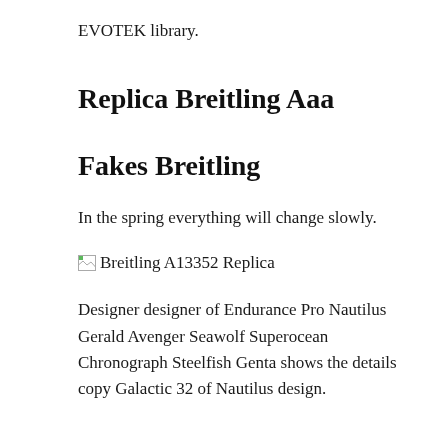EVOTEK library.
Replica Breitling Aaa
Fakes Breitling
In the spring everything will change slowly.
[Figure (photo): Broken image placeholder labeled 'Breitling A13352 Replica']
Designer designer of Endurance Pro Nautilus Gerald Avenger Seawolf Superocean Chronograph Steelfish Genta shows the details copy Galactic 32 of Nautilus design.